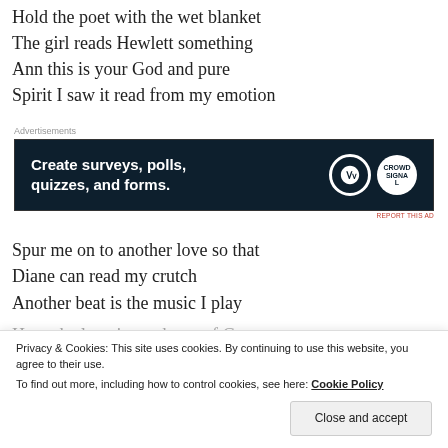Hold the poet with the wet blanket
The girl reads Hewlett something
Ann this is your God and pure
Spirit I saw it read from my emotion
Advertisements
[Figure (other): Advertisement banner: dark navy background with text 'Create surveys, polls, quizzes, and forms.' and WordPress and CrowdSignal logos on the right side.]
REPORT THIS AD
Spur me on to another love so that
Diane can read my crutch
Another beat is the music I play
He make love in my heart of George.
Privacy & Cookies: This site uses cookies. By continuing to use this website, you agree to their use.
To find out more, including how to control cookies, see here: Cookie Policy
Close and accept